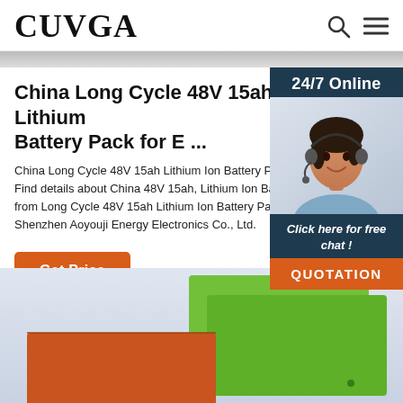CUVGA
[Figure (photo): Top banner image, partially visible, grey/blue tones]
China Long Cycle 48V 15ah Lithium Battery Pack for E ...
China Long Cycle 48V 15ah Lithium Ion Battery Pack, Find details about China 48V 15ah, Lithium Ion Battery from Long Cycle 48V 15ah Lithium Ion Battery Pack - Shenzhen Aoyouji Energy Electronics Co., Ltd.
[Figure (photo): Customer service representative with headset, 24/7 Online widget with dark blue background. Includes 'Click here for free chat!' text and orange QUOTATION button.]
Get Price
[Figure (photo): Product photo showing green and orange lithium battery packs on light blue/grey background]